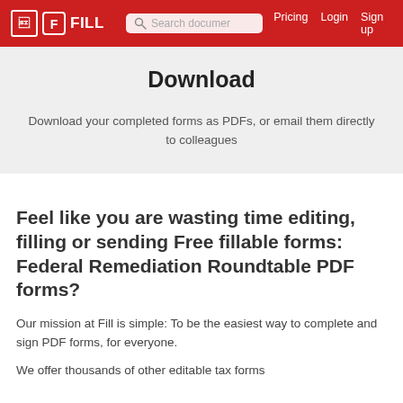FILL | Search document | Pricing | Login | Sign up
Download
Download your completed forms as PDFs, or email them directly to colleagues
Feel like you are wasting time editing, filling or sending Free fillable forms: Federal Remediation Roundtable PDF forms?
Our mission at Fill is simple: To be the easiest way to complete and sign PDF forms, for everyone.
We offer thousands of other editable tax forms